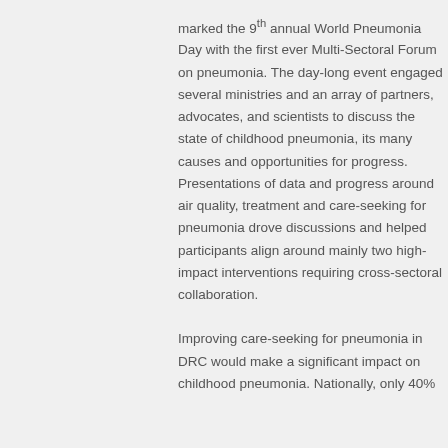marked the 9th annual World Pneumonia Day with the first ever Multi-Sectoral Forum on pneumonia. The day-long event engaged several ministries and an array of partners, advocates, and scientists to discuss the state of childhood pneumonia, its many causes and opportunities for progress. Presentations of data and progress around air quality, treatment and care-seeking for pneumonia drove discussions and helped participants align around mainly two high-impact interventions requiring cross-sectoral collaboration.
Improving care-seeking for pneumonia in DRC would make a significant impact on childhood pneumonia. Nationally, only 40%